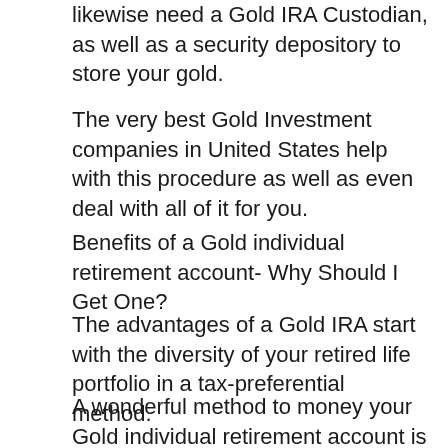likewise need a Gold IRA Custodian, as well as a security depository to store your gold.
The very best Gold Investment companies in United States help with this procedure as well as even deal with all of it for you.
Benefits of a Gold individual retirement account- Why Should I Get One?
The advantages of a Gold IRA start with the diversity of your retired life portfolio in a tax-preferential method.
A wonderful method to money your Gold individual retirement account is via rollovers or transfers which do not trigger any type of taxes when done effectively.